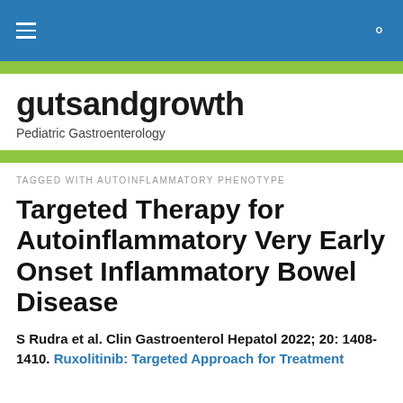gutsandgrowth — navigation bar with hamburger menu and search icon
gutsandgrowth
Pediatric Gastroenterology
TAGGED WITH AUTOINFLAMMATORY PHENOTYPE
Targeted Therapy for Autoinflammatory Very Early Onset Inflammatory Bowel Disease
S Rudra et al. Clin Gastroenterol Hepatol 2022; 20: 1408-1410. Ruxolitinib: Targeted Approach for Treatment